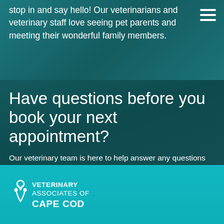stop in and say hello! Our veterinarians and veterinary staff love seeing pet parents and meeting their wonderful family members.
Have questions before you book your next appointment?
Our veterinary team is here to help answer any questions you may have. Simply fill out the form below and one of our trained customer service
[Figure (logo): Veterinary Associates of Cape Cod logo with stylized V icon in white on teal background]